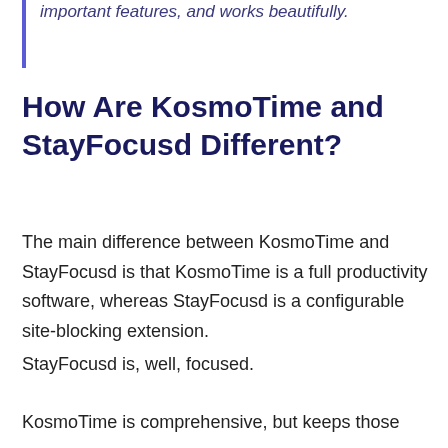important features, and works beautifully.
How Are KosmoTime and StayFocusd Different?
The main difference between KosmoTime and StayFocusd is that KosmoTime is a full productivity software, whereas StayFocusd is a configurable site-blocking extension.
StayFocusd is, well, focused.
KosmoTime is comprehensive, but keeps those